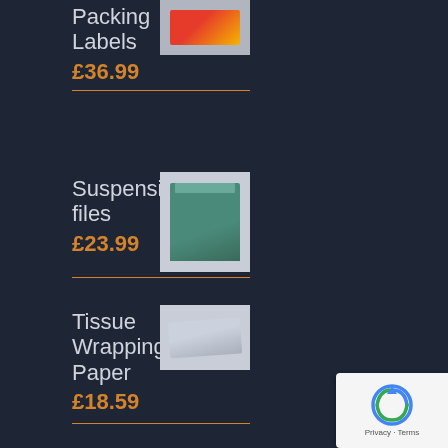Packing Labels
£36.99
Suspension files
£23.99
Tissue Wrapping Paper
£18.59
Cardboard Pallet Boxes
★★★★☆
£34.99 – £39.99
[Figure (other): reCAPTCHA Privacy - Terms badge]